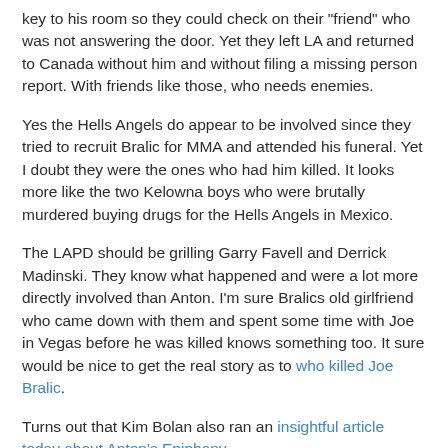key to his room so they could check on their "friend" who was not answering the door. Yet they left LA and returned to Canada without him and without filing a missing person report. With friends like those, who needs enemies.
Yes the Hells Angels do appear to be involved since they tried to recruit Bralic for MMA and attended his funeral. Yet I doubt they were the ones who had him killed. It looks more like the two Kelowna boys who were brutally murdered buying drugs for the Hells Angels in Mexico.
The LAPD should be grilling Garry Favell and Derrick Madinski. They know what happened and were a lot more directly involved than Anton. I'm sure Bralics old girlfriend who came down with them and spent some time with Joe in Vegas before he was killed knows something too. It sure would be nice to get the real story as to who killed Joe Bralic.
Turns out that Kim Bolan also ran an insightful article today about Anton's Epiphany.